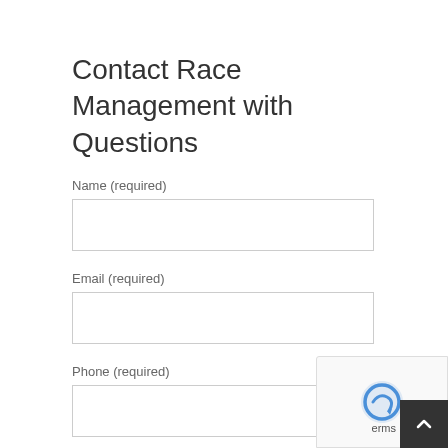Contact Race Management with Questions
Name (required)
Email (required)
Phone (required)
What is your question regarding? Packet pick-